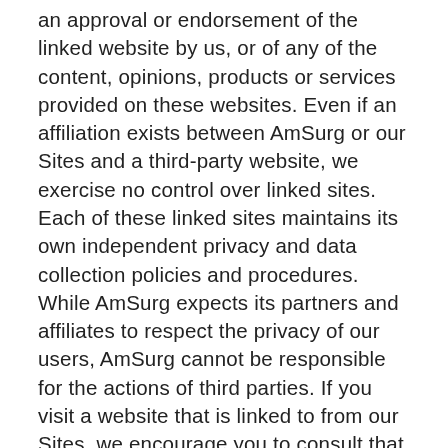an approval or endorsement of the linked website by us, or of any of the content, opinions, products or services provided on these websites. Even if an affiliation exists between AmSurg or our Sites and a third-party website, we exercise no control over linked sites. Each of these linked sites maintains its own independent privacy and data collection policies and procedures. While AmSurg expects its partners and affiliates to respect the privacy of our users, AmSurg cannot be responsible for the actions of third parties. If you visit a website that is linked to from our Sites, we encourage you to consult that website's privacy policy before providing any personal information and whenever interacting with any website.